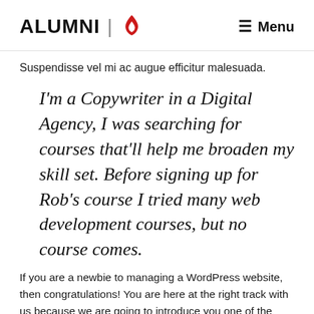ALUMNI | Menu
Suspendisse vel mi ac augue efficitur malesuada.
I'm a Copywriter in a Digital Agency, I was searching for courses that'll help me broaden my skill set. Before signing up for Rob's course I tried many web development courses, but no course comes.
If you are a newbie to managing a WordPress website, then congratulations! You are here at the right track with us because we are going to introduce you one of the